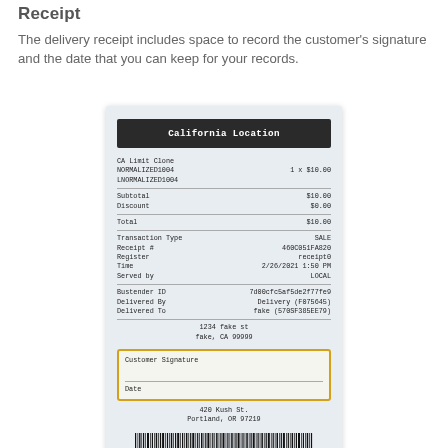Receipt
The delivery receipt includes space to record the customer's signature and the date that you can keep for your records.
[Figure (photo): A sample delivery receipt for California Location showing transaction details including items, subtotal, discount, total, transaction type SALE, receipt number, register, time, served by, bartender ID, delivered by, delivered to, address, a customer signature box with yellow border, date field, store address at 420 Kush St. Portland, OR 97219, and a barcode at the bottom.]